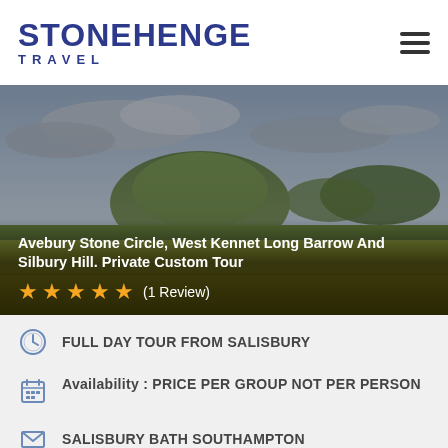STONEHENGE TRAVEL
[Figure (photo): Landscape photo showing a green hill (Silbury Hill) under a dramatic cloudy sky, with yellow rapeseed fields in the foreground.]
Avebury Stone Circle, West Kennet Long Barrow And Silbury Hill. Private Custom Tour
★★★★★ (1 Review)
FULL DAY TOUR FROM SALISBURY
Availability : PRICE PER GROUP NOT PER PERSON
SALISBURY BATH SOUTHAMPTON